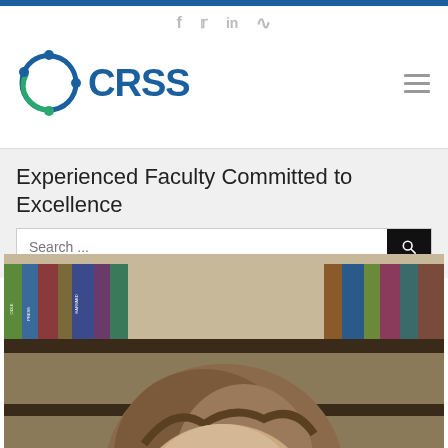CRSS website header with social icons (f, twitter, in, RSS) and blue top bar
[Figure (logo): CRSS logo with circular icon made of blue and green connected nodes and the text CRSS in dark blue bold]
Experienced Faculty Committed to Excellence
Search ...
[Figure (photo): Person with brown hair photographed in front of a bookshelf with colorful books including visible Harvard Press books]